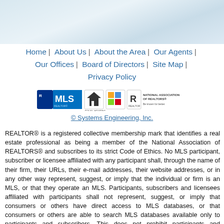[Figure (illustration): Light blue/grey gradient header banner image]
Home | About Us | About the Area | Our Agents | Our Offices | Board of Directors | Site Map | Privacy Policy
[Figure (logo): Row of logos: MLS, Equal Housing, and National Association of REALTORS logos]
© Systems Engineering, Inc.
REALTOR® is a registered collective membership mark that identifies a real estate professional as being a member of the National Association of REALTORS® and subscribes to its strict Code of Ethics. No MLS participant, subscriber or licensee affiliated with any participant shall, through the name of their firm, their URLs, their e-mail addresses, their website addresses, or in any other way represent, suggest, or imply that the individual or firm is an MLS, or that they operate an MLS. Participants, subscribers and licensees affiliated with participants shall not represent, suggest, or imply that consumers or others have direct access to MLS databases, or that consumers or others are able to search MLS databases available only to participants and subscribers. This does not prohibit participants and subscribers from representing that any information they are authorized under MLS rules to provide to clients or customers is available on their websites or otherwise.